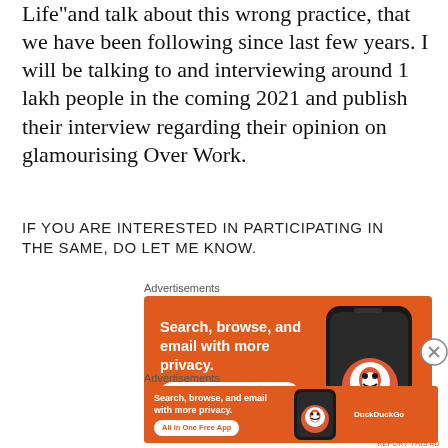Life”and talk about this wrong practice, that we have been following since last few years. I will be talking to and interviewing around 1 lakh people in the coming 2021 and publish their interview regarding their opinion on glamourising Over Work.
IF YOU ARE INTERESTED IN PARTICIPATING IN THE SAME, DO LET ME KNOW.
Advertisements
[Figure (screenshot): DuckDuckGo advertisement banner: orange background with text 'Search, browse, and email with more privacy.' and 'All in One Free App' button, with phone image and DuckDuckGo logo]
Advertisements
[Figure (screenshot): DuckDuckGo advertisement banner (smaller): orange background with text 'Search, browse, and email with more privacy.' and 'All in One Free App' button, with phone image and DuckDuckGo logo]